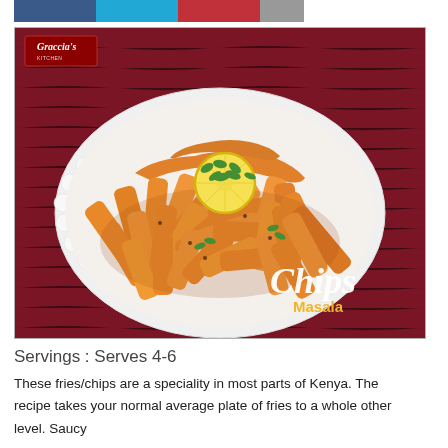[Figure (other): Color palette bar with four colored rectangles: dark blue, cyan/teal, dark red, gray]
[Figure (photo): Photo of Chips Masala – spiced potato fries on a white scalloped plate garnished with fresh cilantro and a lemon slice, on a dark red background. Logo 'Graccia's Kitchen' in top left. Text overlay: 'Chips Masala' in bottom right.]
Servings : Serves 4-6
These fries/chips are a speciality in most parts of Kenya. The recipe takes your normal average plate of fries to a whole other level. Saucy